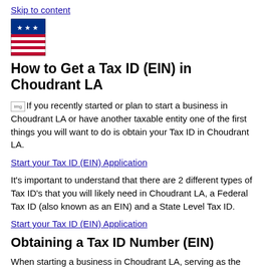Skip to content
[Figure (logo): US government shield logo with stars and stripes]
How to Get a Tax ID (EIN) in Choudrant LA
If you recently started or plan to start a business in Choudrant LA or have another taxable entity one of the first things you will want to do is obtain your Tax ID in Choudrant LA.
Start your Tax ID (EIN) Application
It’s important to understand that there are 2 different types of Tax ID’s that you will likely need in Choudrant LA, a Federal Tax ID (also known as an EIN) and a State Level Tax ID.
Start your Tax ID (EIN) Application
Obtaining a Tax ID Number (EIN)
When starting a business in Choudrant LA, serving as the administrator or executor of an estate, creator of a Trust or